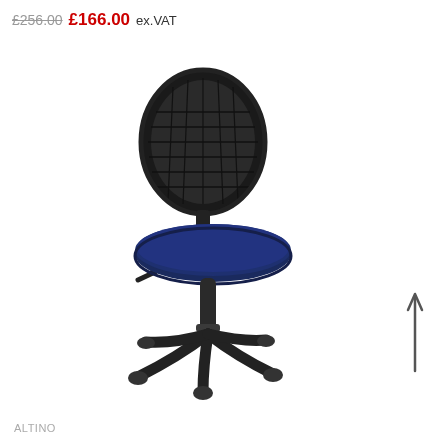£256.00  £166.00 ex.VAT
[Figure (photo): Office chair with black mesh back and navy blue fabric seat, black five-star base with castors, height adjustable, no armrests — Altino model]
[Figure (other): Vertical arrow pointing upward, dark grey, indicating scrolling or navigation]
ALTINO